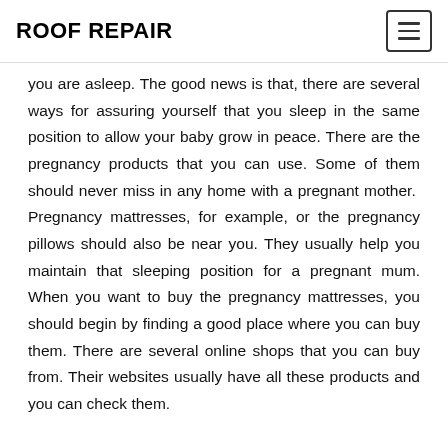ROOF REPAIR
you are asleep. The good news is that, there are several ways for assuring yourself that you sleep in the same position to allow your baby grow in peace. There are the pregnancy products that you can use. Some of them should never miss in any home with a pregnant mother. Pregnancy mattresses, for example, or the pregnancy pillows should also be near you. They usually help you maintain that sleeping position for a pregnant mum. When you want to buy the pregnancy mattresses, you should begin by finding a good place where you can buy them. There are several online shops that you can buy from. Their websites usually have all these products and you can check them.